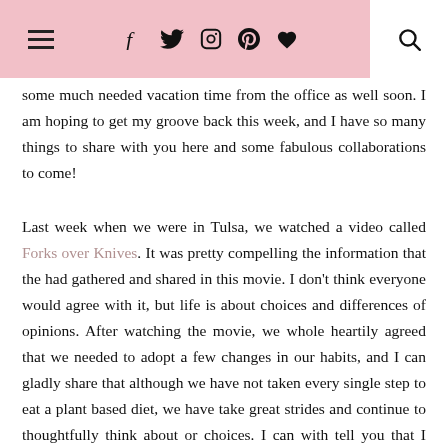hamburger menu | f t instagram pinterest heart | search
some much needed vacation time from the office as well soon.  I am hoping to get my groove back this week, and I have so many things to share with you here and some fabulous collaborations to come!
Last week when we were in Tulsa, we watched a video called Forks over Knives.  It was pretty compelling the information that the had gathered and shared in this movie.  I don't think everyone would agree with it, but life is about choices and differences of opinions.  After watching the movie, we whole heartily agreed that we needed to adopt a few changes in our habits, and I can gladly share that although we have not taken every single step to eat a plant based diet, we have take great strides and continue to thoughtfully think about or choices.  I can with tell you that I have lost 6 pounds in